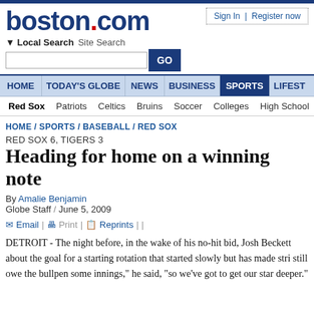boston.com
Sign In | Register now
Local Search  Site Search
HOME / TODAY'S GLOBE / NEWS / BUSINESS / SPORTS / LIFEST...
Red Sox  Patriots  Celtics  Bruins  Soccer  Colleges  High School
HOME / SPORTS / BASEBALL / RED SOX
RED SOX 6, TIGERS 3
Heading for home on a winning note
By Amalie Benjamin
Globe Staff / June 5, 2009
Email | Print | Reprints |
DETROIT - The night before, in the wake of his no-hit bid, Josh Beckett about the goal for a starting rotation that started slowly but has made stri still owe the bullpen some innings," he said, "so we've got to get our star deeper."